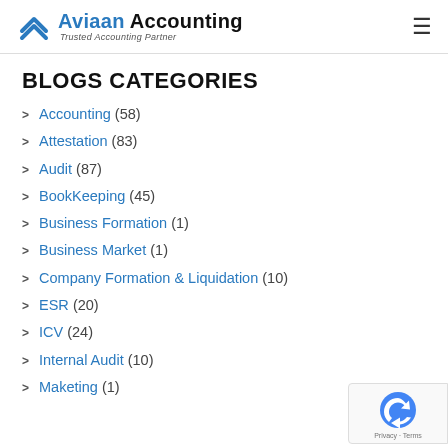Aviaan Accounting – Trusted Accounting Partner
BLOGS CATEGORIES
Accounting (58)
Attestation (83)
Audit (87)
BookKeeping (45)
Business Formation (1)
Business Market (1)
Company Formation & Liquidation (10)
ESR (20)
ICV (24)
Internal Audit (10)
Maketing (1)